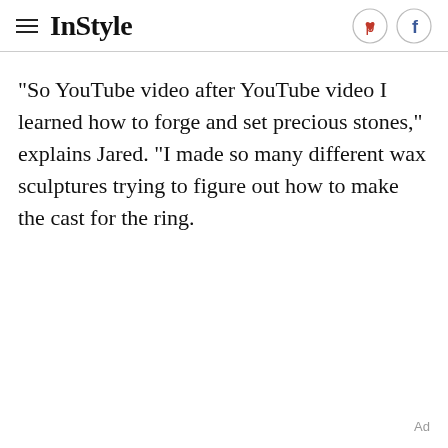InStyle
"So YouTube video after YouTube video I learned how to forge and set precious stones," explains Jared. "I made so many different wax sculptures trying to figure out how to make the cast for the ring.
Ad